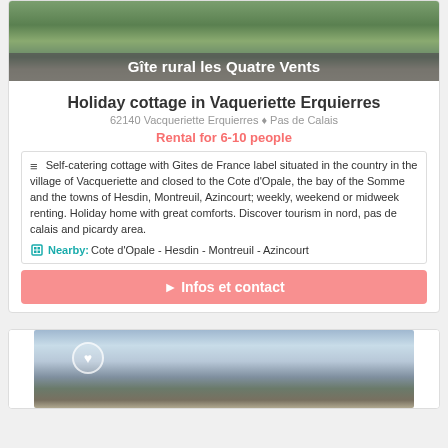[Figure (photo): Exterior photo of Gîte rural les Quatre Vents holiday cottage with countryside view]
Gîte rural les Quatre Vents
Holiday cottage in Vaqueriette Erquierres
62140 Vacqueriette Erquierres ♦ Pas de Calais
Rental for 6-10 people
Self-catering cottage with Gites de France label situated in the country in the village of Vacqueriette and closed to the Cote d'Opale, the bay of the Somme and the towns of Hesdin, Montreuil, Azincourt; weekly, weekend or midweek renting. Holiday home with great comforts. Discover tourism in nord, pas de calais and picardy area.
Nearby: Cote d'Opale - Hesdin - Montreuil - Azincourt
► Infos et contact
[Figure (photo): Second holiday cottage listing photo showing a rural building with countryside landscape]